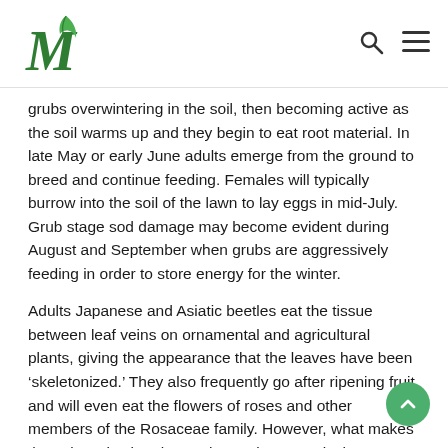M [logo] [search icon] [menu icon]
grubs overwintering in the soil, then becoming active as the soil warms up and they begin to eat root material. In late May or early June adults emerge from the ground to breed and continue feeding. Females will typically burrow into the soil of the lawn to lay eggs in mid-July. Grub stage sod damage may become evident during August and September when grubs are aggressively feeding in order to store energy for the winter.
Adults Japanese and Asiatic beetles eat the tissue between leaf veins on ornamental and agricultural plants, giving the appearance that the leaves have been ‘skeletonized.’ They also frequently go after ripening fruit and will even eat the flowers of roses and other members of the Rosaceae family. However, what makes these invasive beetles such a serious pest is that not only do the adults cause extensive damage to plants; the larvae are also voracious eaters, particularly of sod roots. In cases of heavy grub infestation it is very common that this will result in large dead patches of grass that quickly turn yellow or brown.